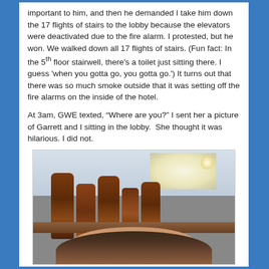important to him, and then he demanded I take him down the 17 flights of stairs to the lobby because the elevators were deactivated due to the fire alarm. I protested, but he won. We walked down all 17 flights of stairs. (Fun fact: In the 5th floor stairwell, there's a toilet just sitting there. I guess 'when you gotta go, you gotta go.') It turns out that there was so much smoke outside that it was setting off the fire alarms on the inside of the hotel.
At 3am, GWE texted, "Where are you?" I sent her a picture of Garrett and I sitting in the lobby.  She thought it was hilarious. I did not.
[Figure (photo): A selfie photo showing the top of a person's head with dark hair at the bottom, and what appears to be brown sauce bottles or similar condiment containers in a hotel lobby setting, with ceiling lights visible in the background.]